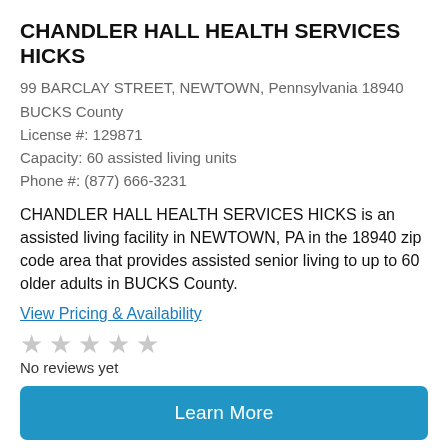CHANDLER HALL HEALTH SERVICES HICKS
99 BARCLAY STREET, NEWTOWN, Pennsylvania 18940
BUCKS County
License #: 129871
Capacity: 60 assisted living units
Phone #: (877) 666-3231
CHANDLER HALL HEALTH SERVICES HICKS is an assisted living facility in NEWTOWN, PA in the 18940 zip code area that provides assisted senior living to up to 60 older adults in BUCKS County.
View Pricing & Availability
No reviews yet
Learn More